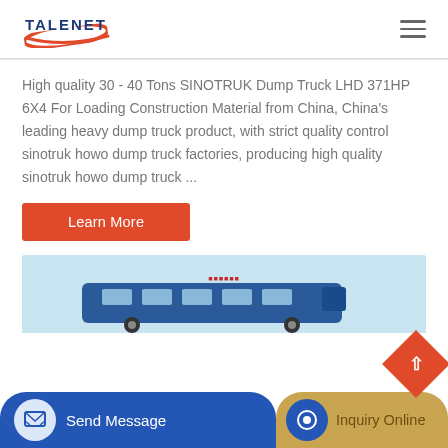[Figure (logo): TALENET company logo with red swoosh and blue text]
High quality 30 - 40 Tons SINOTRUK Dump Truck LHD 371HP 6X4 For Loading Construction Material from China, China's leading heavy dump truck product, with strict quality control sinotruk howo dump truck factories, producing high quality sinotruk howo dump truck ...
Learn More
[Figure (photo): Product image showing a bus/truck in a light blue background]
Send Message
Inquiry Online